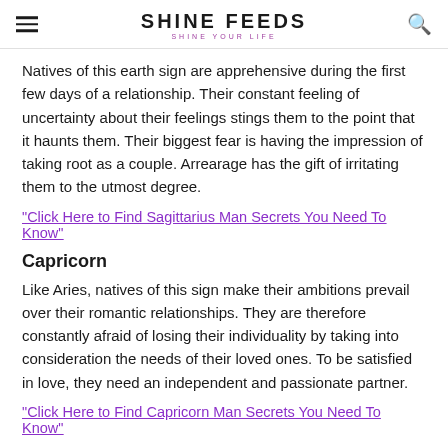SHINE FEEDS — SHINE YOUR LIFE
Natives of this earth sign are apprehensive during the first few days of a relationship. Their constant feeling of uncertainty about their feelings stings them to the point that it haunts them. Their biggest fear is having the impression of taking root as a couple. Arrearage has the gift of irritating them to the utmost degree.
"Click Here to Find Sagittarius Man Secrets You Need To Know"
Capricorn
Like Aries, natives of this sign make their ambitions prevail over their romantic relationships. They are therefore constantly afraid of losing their individuality by taking into consideration the needs of their loved ones. To be satisfied in love, they need an independent and passionate partner.
"Click Here to Find Capricorn Man Secrets You Need To Know"
Aquarius